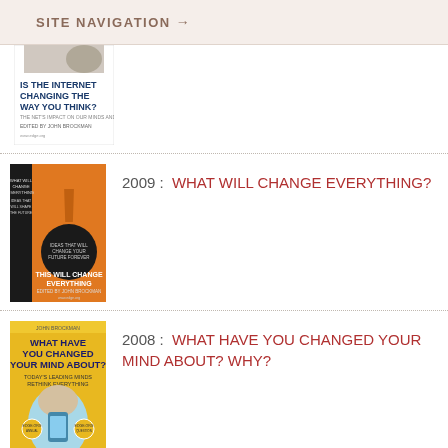SITE NAVIGATION →
[Figure (illustration): Partial view of book cover: 'IS THE INTERNET CHANGING THE WAY YOU THINK? THE NET'S IMPACT ON OUR MINDS AND FUTURE, EDITED BY JOHN BROCKMAN']
2009 : WHAT WILL CHANGE EVERYTHING?
[Figure (illustration): Orange book cover: 'THIS WILL CHANGE EVERYTHING' with large exclamation mark and dark circle, edited by John Brockman]
2008 : WHAT HAVE YOU CHANGED YOUR MIND ABOUT? WHY?
[Figure (illustration): Yellow-orange book cover: 'WHAT HAVE YOU CHANGED YOUR MIND ABOUT? TODAY'S LEADING MINDS RETHINK EVERYTHING, EDITED BY JOHN BROCKMAN']